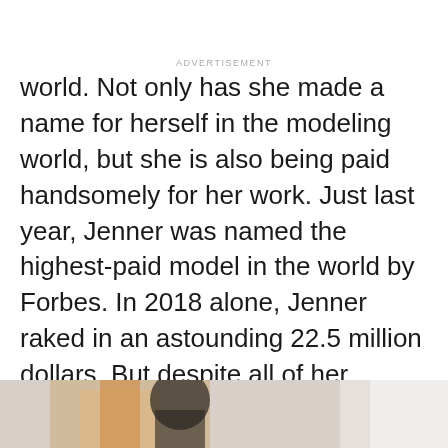world. Not only has she made a name for herself in the modeling world, but she is also being paid handsomely for her work. Just last year, Jenner was named the highest-paid model in the world by Forbes. In 2018 alone, Jenner raked in an astounding 22.5 million dollars. But despite all of her success, Jenner still has goals that she works for, and she recently revealed her biggest one.
[Figure (photo): Partial photo of a person, visible at the bottom of the page]